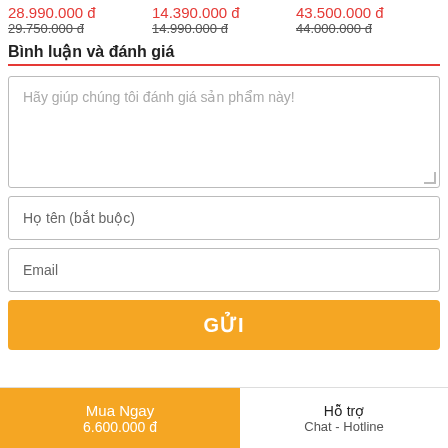28.990.000 đ | 14.390.000 đ | 43.500.000 đ (sale prices); 29.750.000 đ | 14.990.000 đ | 44.000.000 đ (original prices)
Bình luận và đánh giá
Hãy giúp chúng tôi đánh giá sản phẩm này!
Họ tên (bắt buộc)
Email
GỬI
Mua Ngay
6.600.000 đ
Hỗ trợ
Chat - Hotline